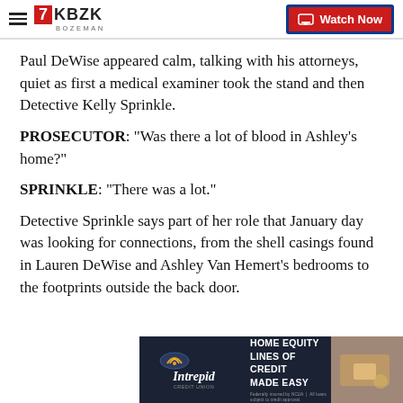KBZK BOZEMAN | Watch Now
Paul DeWise appeared calm, talking with his attorneys, quiet as first a medical examiner took the stand and then Detective Kelly Sprinkle.
PROSECUTOR: “Was there a lot of blood in Ashley’s home?”
SPRINKLE: “There was a lot.”
Detective Sprinkle says part of her role that January day was looking for connections, from the shell casings found in Lauren DeWise and Ashley Van Hemert’s bedrooms to the footprints outside the back door.
[Figure (infographic): Intrepid Credit Union advertisement: HOME EQUITY LINES OF CREDIT MADE EASY]